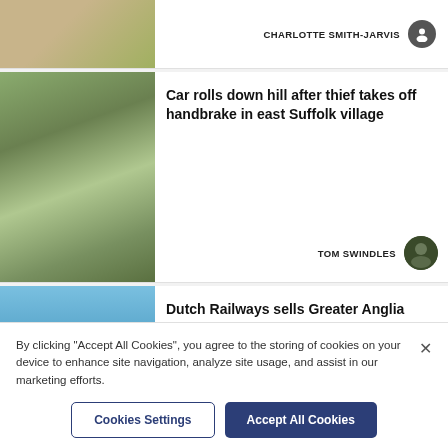[Figure (photo): Partially visible outdoor dining/garden scene photo at top left]
CHARLOTTE SMITH-JARVIS
[Figure (photo): Road through village with trees, east Suffolk village]
Car rolls down hill after thief takes off handbrake in east Suffolk village
TOM SWINDLES
[Figure (photo): Greater Anglia train on bridge, blue sky]
Dutch Railways sells Greater Anglia owner to managers
By clicking "Accept All Cookies", you agree to the storing of cookies on your device to enhance site navigation, analyze site usage, and assist in our marketing efforts.
Cookies Settings
Accept All Cookies